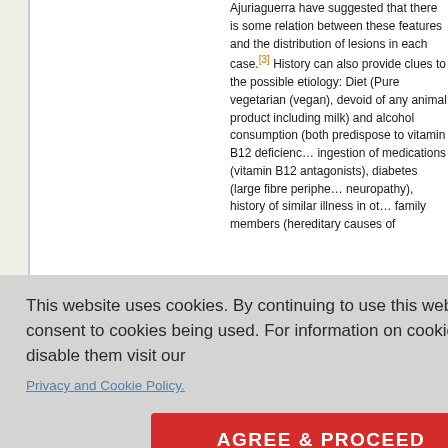Ajuriaguerra have suggested that there is some relation between these features and the distribution of lesions in each case.[3] History can also provide clues to the possible etiology: Diet (Pure vegetarian (vegan), devoid of any animal product including milk) and alcohol consumption (both predispose to vitamin B12 deficiency), ingestion of medications (vitamin B12 antagonists), diabetes (large fibre peripheral neuropathy), history of similar illness in other family members (hereditary causes of
This website uses cookies. By continuing to use this website you are giving consent to cookies being used. For information on cookies and how you can disable them visit our
Privacy and Cookie Policy.
AGREE & PROCEED
isodes or blurring of vmptoms c ion causing npromise) al One should oms of neurologic nsory atax (stamping also be enquired about. Localization of the pathol